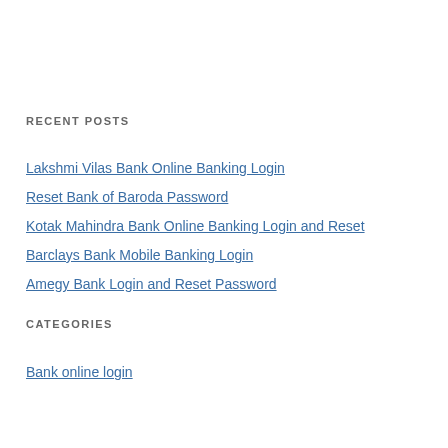RECENT POSTS
Lakshmi Vilas Bank Online Banking Login
Reset Bank of Baroda Password
Kotak Mahindra Bank Online Banking Login and Reset
Barclays Bank Mobile Banking Login
Amegy Bank Login and Reset Password
CATEGORIES
Bank online login